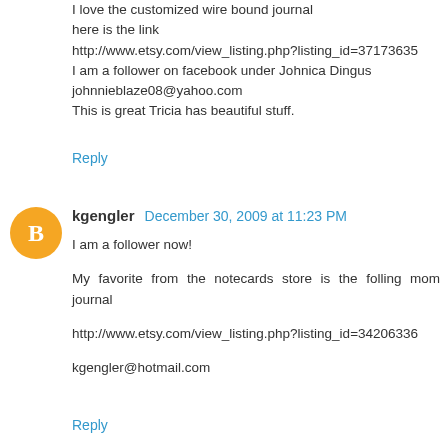I love the customized wire bound journal
here is the link
http://www.etsy.com/view_listing.php?listing_id=37173635
I am a follower on facebook under Johnica Dingus
johnnieblaze08@yahoo.com
This is great Tricia has beautiful stuff.
Reply
[Figure (illustration): Orange circle avatar with white letter B]
kgengler  December 30, 2009 at 11:23 PM
I am a follower now!

My favorite from the notecards store is the folling mom journal

http://www.etsy.com/view_listing.php?listing_id=34206336

kgengler@hotmail.com
Reply